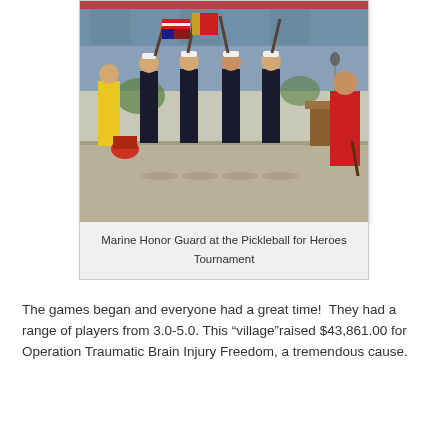[Figure (photo): Marine Honor Guard carrying flags and rifles at a pickleball tournament ceremony, with a person in red on the right side]
Marine Honor Guard at the Pickleball for Heroes Tournament
The games began and everyone had a great time!  They had a range of players from 3.0-5.0. This "village"raised $43,861.00 for Operation Traumatic Brain Injury Freedom, a tremendous cause.